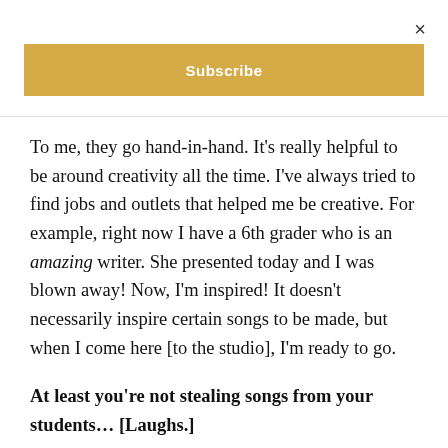×
[Figure (other): Gold/yellow Subscribe button bar]
To me, they go hand-in-hand. It's really helpful to be around creativity all the time. I've always tried to find jobs and outlets that helped me be creative. For example, right now I have a 6th grader who is an amazing writer. She presented today and I was blown away! Now, I'm inspired! It doesn't necessarily inspire certain songs to be made, but when I come here [to the studio], I'm ready to go.
At least you're not stealing songs from your students… [Laughs.]